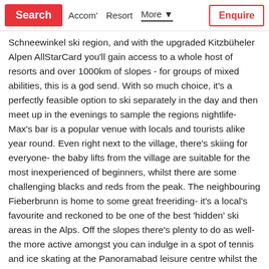Search | Accom' | Resort | More | Enquire
Schneewinkel ski region, and with the upgraded Kitzbüheler Alpen AllStarCard you'll gain access to a whole host of resorts and over 1000km of slopes - for groups of mixed abilities, this is a god send. With so much choice, it's a perfectly feasible option to ski separately in the day and then meet up in the evenings to sample the regions nightlife- Max's bar is a popular venue with locals and tourists alike year round. Even right next to the village, there's skiing for everyone- the baby lifts from the village are suitable for the most inexperienced of beginners, whilst there are some challenging blacks and reds from the peak. The neighbouring Fieberbrunn is home to some great freeriding- it's a local's favourite and reckoned to be one of the best 'hidden' ski areas in the Alps. Off the slopes there's plenty to do as well- the more active amongst you can indulge in a spot of tennis and ice skating at the Panoramabad leisure centre whilst the more sedate lounge in a hot tub or book a massage to prepare for the next day on the slopes. The Gasthof zum Dampfl is an award winning restaurant that can cater for groups of all sizes- the drinks menu is also agreeably comprehensive- and for a rousing après session everyone should head to Max's pub. The good selection of hotels in the region